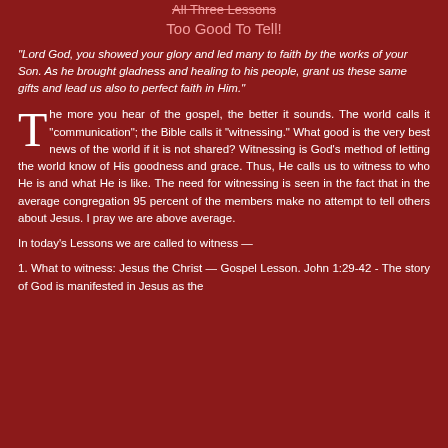All Three Lessons
Too Good To Tell!
“Lord God, you showed your glory and led many to faith by the works of your Son. As he brought gladness and healing to his people, grant us these same gifts and lead us also to perfect faith in Him.”
The more you hear of the gospel, the better it sounds. The world calls it “communication”; the Bible calls it “witnessing.” What good is the very best news of the world if it is not shared? Witnessing is God’s method of letting the world know of His goodness and grace. Thus, He calls us to witness to who He is and what He is like. The need for witnessing is seen in the fact that in the average congregation 95 percent of the members make no attempt to tell others about Jesus. I pray we are above average.
In today’s Lessons we are called to witness —
1. What to witness: Jesus the Christ — Gospel Lesson. John 1:29-42 - The story of God is manifested in Jesus as the